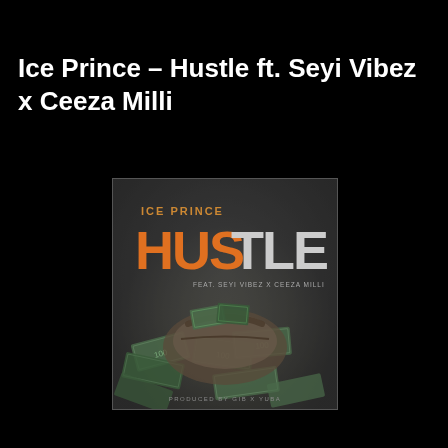Ice Prince – Hustle ft. Seyi Vibez x Ceeza Milli
[Figure (photo): Album cover art for Ice Prince – Hustle featuring Seyi Vibez and Ceeza Milli. Dark grey background with money (dollar bills) and a duffle bag. Text reads ICE PRINCE at top, then HUSTLE in large letters with HUS in orange and TLE in grey/white, followed by FEAT. SEYI VIBEZ X CEEZA MILLI, and PRODUCED BY GIB X YUBA at bottom.]